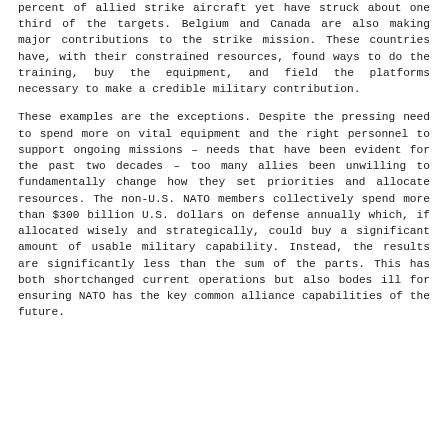percent of allied strike aircraft yet have struck about one third of the targets. Belgium and Canada are also making major contributions to the strike mission. These countries have, with their constrained resources, found ways to do the training, buy the equipment, and field the platforms necessary to make a credible military contribution.
These examples are the exceptions. Despite the pressing need to spend more on vital equipment and the right personnel to support ongoing missions – needs that have been evident for the past two decades – too many allies been unwilling to fundamentally change how they set priorities and allocate resources. The non-U.S. NATO members collectively spend more than $300 billion U.S. dollars on defense annually which, if allocated wisely and strategically, could buy a significant amount of usable military capability. Instead, the results are significantly less than the sum of the parts. This has both shortchanged current operations but also bodes ill for ensuring NATO has the key common alliance capabilities of the future.